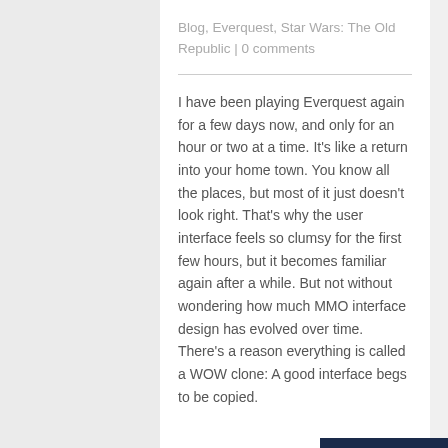Blog, Everquest, Star Wars: The Old Republic | 0 comments
I have been playing Everquest again for a few days now, and only for an hour or two at a time. It’s like a return into your home town. You know all the places, but most of it just doesn’t look right. That’s why the user interface feels so clumsy for the first few hours, but it becomes familiar again after a while. But not without wondering how much MMO interface design has evolved over time. There’s a reason everything is called a WOW clone: A good interface begs to be copied.